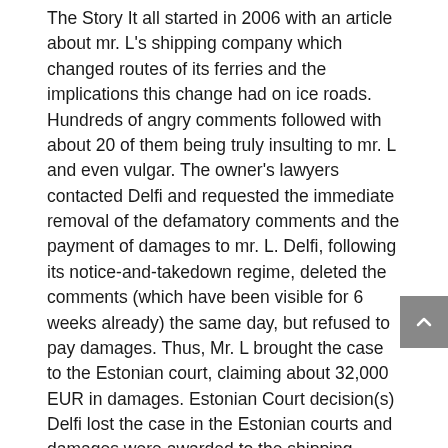The Story It all started in 2006 with an article about mr. L's shipping company which changed routes of its ferries and the implications this change had on ice roads. Hundreds of angry comments followed with about 20 of them being truly insulting to mr. L and even vulgar. The owner's lawyers contacted Delfi and requested the immediate removal of the defamatory comments and the payment of damages to mr. L. Delfi, following its notice-and-takedown regime, deleted the comments (which have been visible for 6 weeks already) the same day, but refused to pay damages. Thus, Mr. L brought the case to the Estonian court, claiming about 32,000 EUR in damages. Estonian Court decision(s) Delfi lost the case in the Estonian courts and damages were awarded to the shipping company owner. The courts in Estonia concluded that the comments, being defamatory and insulting, cannot be protected as freedom of expression. The amount of the damages have been ridiculously small, only 320